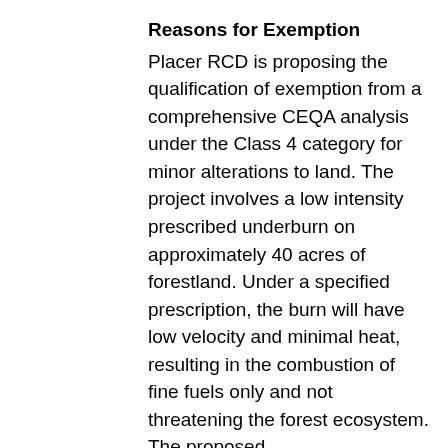Reasons for Exemption
Placer RCD is proposing the qualification of exemption from a comprehensive CEQA analysis under the Class 4 category for minor alterations to land. The project involves a low intensity prescribed underburn on approximately 40 acres of forestland. Under a specified prescription, the burn will have low velocity and minimal heat, resulting in the combustion of fine fuels only and not threatening the forest ecosystem. The proposed